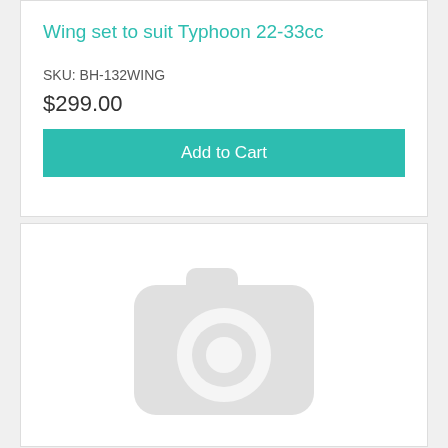Wing set to suit Typhoon 22-33cc
SKU: BH-132WING
$299.00
Add to Cart
[Figure (photo): Placeholder image with a light grey camera icon on white background]